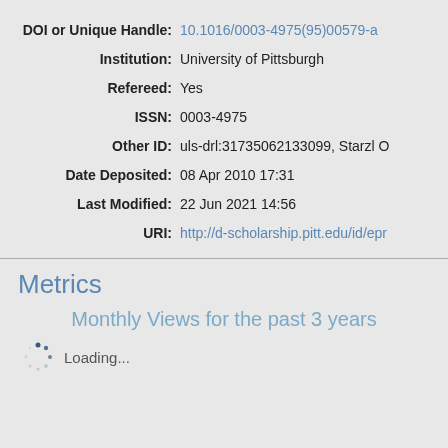| DOI or Unique Handle: | 10.1016/0003-4975(95)00579-a |
| Institution: | University of Pittsburgh |
| Refereed: | Yes |
| ISSN: | 0003-4975 |
| Other ID: | uls-drl:31735062133099, Starzl O |
| Date Deposited: | 08 Apr 2010 17:31 |
| Last Modified: | 22 Jun 2021 14:56 |
| URI: | http://d-scholarship.pitt.edu/id/epr |
Metrics
Monthly Views for the past 3 years
Loading...